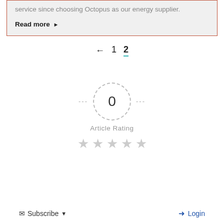service since choosing Octopus as our energy supplier.
Read more ▶
← 1 2
[Figure (other): Article rating widget with a dashed circle showing 0, dashes on each side, 'Article Rating' label, and five empty grey stars below]
Subscribe ▼   Login